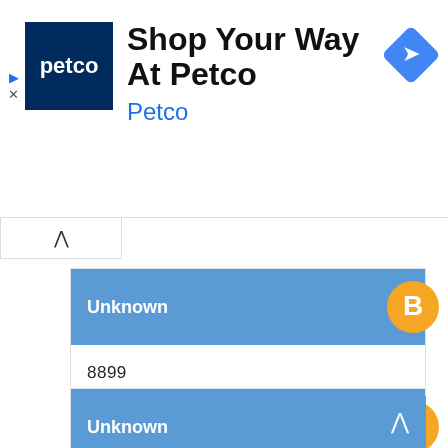[Figure (screenshot): Petco advertisement banner with Petco logo (dark blue background, white text), title 'Shop Your Way At Petco', subtitle 'Petco' in blue, and a navigation diamond icon on the right.]
Unknown
8899
4 June 2021 at 12:23
Reply
Unknown